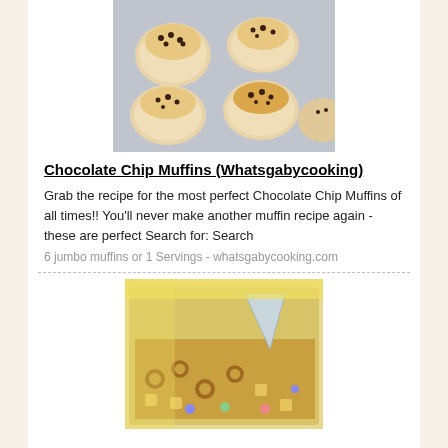[Figure (photo): Chocolate chip muffins in a baking tin, viewed from above]
Chocolate Chip Muffins (Whatsgabycooking)
Grab the recipe for the most perfect Chocolate Chip Muffins of all times!! You'll never make another muffin recipe again - these are perfect Search for: Search
6 jumbo muffins or 1 Servings - whatsgabycooking.com
[Figure (photo): A pan of snack mix with pretzels, cereal, candy and a paper cone]